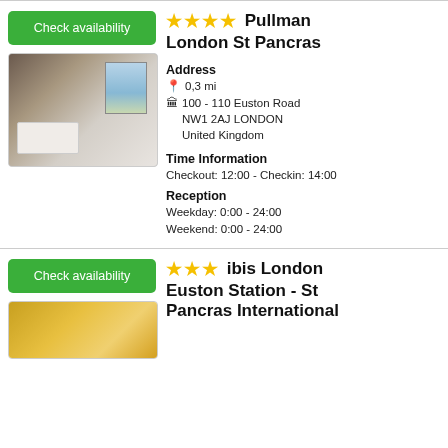[Figure (other): Green 'Check availability' button and hotel room photo for Pullman London St Pancras]
★★★★ Pullman London St Pancras
Address
📍 0,3 mi
🏨 100 - 110 Euston Road
NW1 2AJ LONDON
United Kingdom
Time Information
Checkout: 12:00 - Checkin: 14:00
Reception
Weekday: 0:00 - 24:00
Weekend: 0:00 - 24:00
[Figure (other): Green 'Check availability' button and hotel photo for ibis London Euston Station]
★★★ ibis London Euston Station - St Pancras International